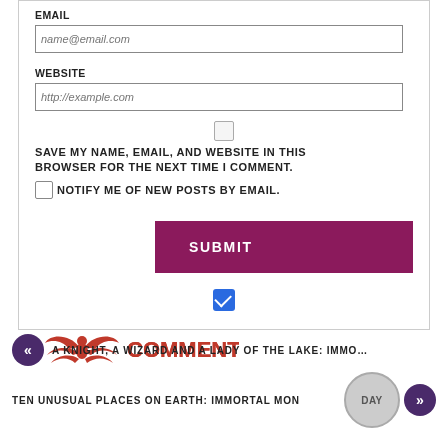EMAIL
name@email.com
WEBSITE
http://example.com
SAVE MY NAME, EMAIL, AND WEBSITE IN THIS BROWSER FOR THE NEXT TIME I COMMENT.
NOTIFY ME OF NEW POSTS BY EMAIL.
SUBMIT
[Figure (logo): CommentLuv logo with red bird wings icon and COMMENT in red LUV in dark blue]
« A KNIGHT, A WIZARD AND A LADY OF THE LAKE: IMMO...
TEN UNUSUAL PLACES ON EARTH: IMMORTAL MONDAY »